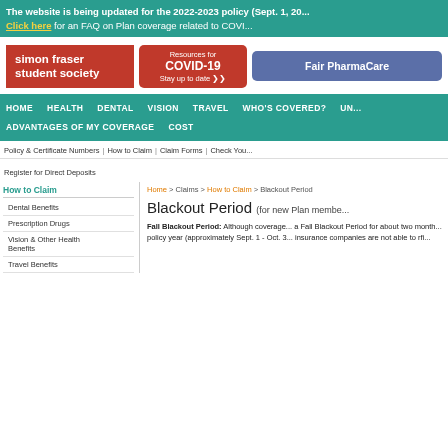The website is being updated for the 2022-2023 policy (Sept. 1, 20... Click here for an FAQ on Plan coverage related to COVI...
[Figure (logo): Simon Fraser Student Society logo - red background with white text]
[Figure (logo): Resources for COVID-19 Stay up to date button - red rounded rectangle]
[Figure (logo): Fair PharmaCare button - blue/purple rounded rectangle]
HOME   HEALTH   DENTAL   VISION   TRAVEL   WHO'S COVERED?   UN...
ADVANTAGES OF MY COVERAGE   COST
Policy & Certificate Numbers | How to Claim | Claim Forms | Check You...
Register for Direct Deposits
How to Claim
Dental Benefits
Prescription Drugs
Vision & Other Health Benefits
Travel Benefits
Home > Claims > How to Claim > Blackout Period
Blackout Period (for new Plan membe...
Fall Blackout Period: Although coverage... a Fall Blackout Period for about two month... policy year (approximately Sept. 1 - Oct. 3... insurance companies are not able to...